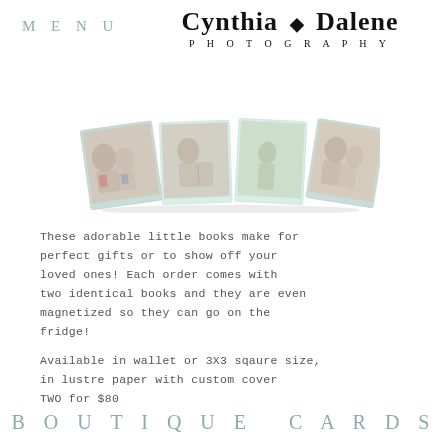MENU
Cynthia ✦ Dalene PHOTOGRAPHY
[Figure (photo): A folded accordion-style photo book strip showing four family/children photographs on a light teal background, displayed in a fan/open position.]
These adorable little books make for perfect gifts or to show off your loved ones! Each order comes with two identical books and they are even magnetized so they can go on the fridge!
Available in wallet or 3X3 sqaure size, in lustre paper with custom cover TWO for $80
BOUTIQUE CARDS